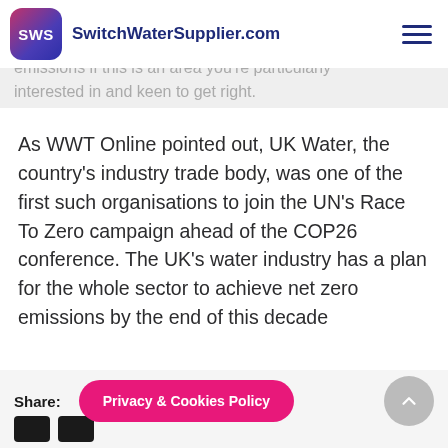SWS SwitchWaterSupplier.com
As well as exploring where your water comes from, you can also look at each organisation's emissions if this is an area you're particularly interested in and keen to get right.
As WWT Online pointed out, UK Water, the country's industry trade body, was one of the first such organisations to join the UN's Race To Zero campaign ahead of the COP26 conference. The UK's water industry has a plan for the whole sector to achieve net zero emissions by the end of this decade
Share:
Privacy & Cookies Policy